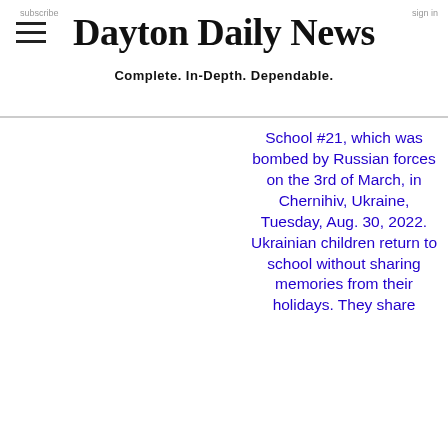Dayton Daily News — Complete. In-Depth. Dependable.
School #21, which was bombed by Russian forces on the 3rd of March, in Chernihiv, Ukraine, Tuesday, Aug. 30, 2022. Ukrainian children return to school without sharing memories from their holidays. They share